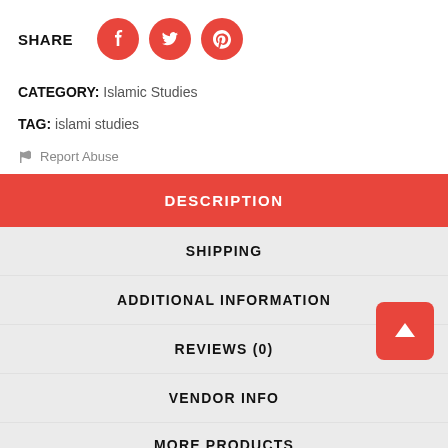SHARE [Facebook] [Twitter] [Pinterest]
CATEGORY: Islamic Studies
TAG: islami studies
Report Abuse
DESCRIPTION
SHIPPING
ADDITIONAL INFORMATION
REVIEWS (0)
VENDOR INFO
MORE PRODUCTS